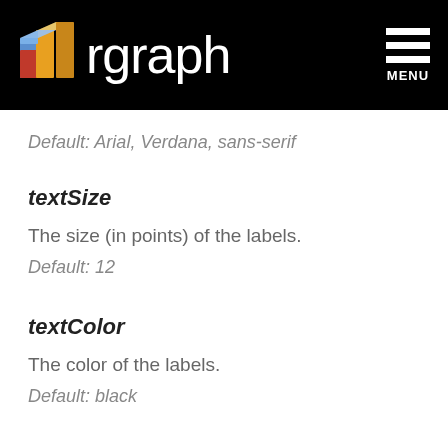rgraph MENU
Default: Arial, Verdana, sans-serif
textSize
The size (in points) of the labels.
Default: 12
textColor
The color of the labels.
Default: black